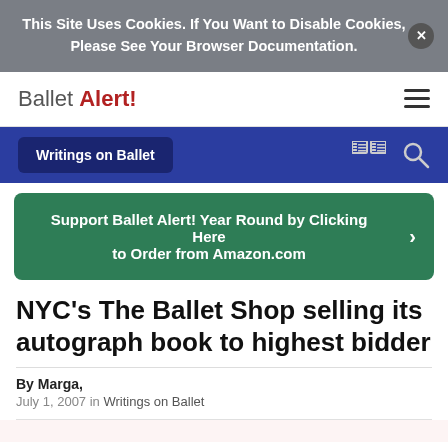This Site Uses Cookies. If You Want to Disable Cookies, Please See Your Browser Documentation.
Ballet Alert!
Writings on Ballet
Support Ballet Alert! Year Round by Clicking Here to Order from Amazon.com
NYC's The Ballet Shop selling its autograph book to highest bidder
By Marga,
July 1, 2007 in Writings on Ballet